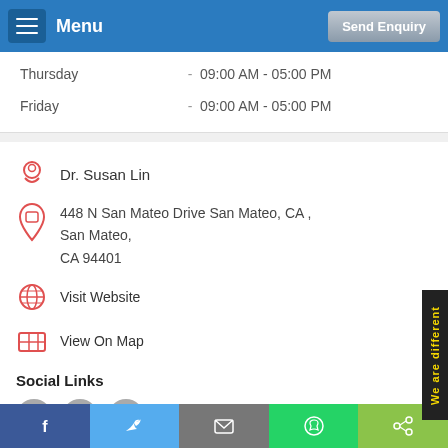Menu | Send Enquiry
Thursday  -  09:00 AM - 05:00 PM
Friday  -  09:00 AM - 05:00 PM
Dr. Susan Lin
448 N San Mateo Drive San Mateo, CA , San Mateo, CA 94401
Visit Website
View On Map
Social Links
[Figure (other): Social media icon buttons: Facebook, Twitter, Instagram]
Facebook | Twitter | Email | WhatsApp | Share